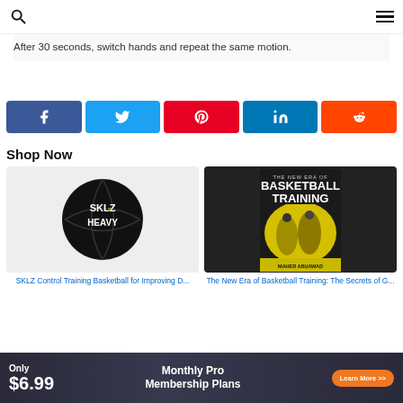Navigation bar with search and menu icons
After 30 seconds, switch hands and repeat the same motion.
[Figure (infographic): Social share buttons: Facebook (blue), Twitter (light blue), Pinterest (red), LinkedIn (dark blue), Reddit (orange)]
Shop Now
[Figure (photo): SKLZ Control Training Basketball for Improving Dribbling - black heavy training basketball]
SKLZ Control Training Basketball for Improving D...
[Figure (photo): The New Era of Basketball Training: The Secrets of G... - book cover with yellow and black design by Maher Abuawad]
The New Era of Basketball Training: The Secrets of G...
[Figure (infographic): Ad banner: Only $6.99 Monthly Pro Membership Plans - Learn More >> button in orange]